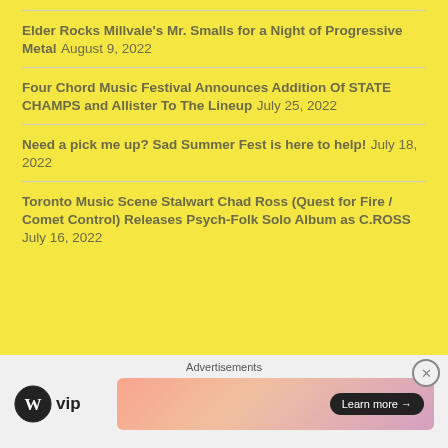Elder Rocks Millvale's Mr. Smalls for a Night of Progressive Metal August 9, 2022
Four Chord Music Festival Announces Addition Of STATE CHAMPS and Allister To The Lineup July 25, 2022
Need a pick me up? Sad Summer Fest is here to help! July 18, 2022
Toronto Music Scene Stalwart Chad Ross (Quest for Fire / Comet Control) Releases Psych-Folk Solo Album as C.ROSS July 16, 2022
Advertisements
[Figure (logo): WordPress VIP logo with circle W icon and 'vip' text]
[Figure (illustration): Advertisement banner with gradient pink/peach/purple background and 'Learn more →' button]